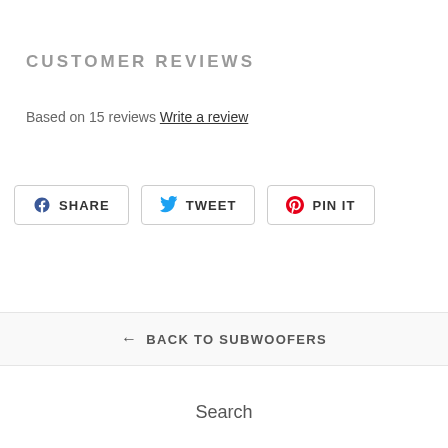CUSTOMER REVIEWS
Based on 15 reviews Write a review
[Figure (other): Social share buttons: SHARE (Facebook), TWEET (Twitter), PIN IT (Pinterest)]
← BACK TO SUBWOOFERS
Search